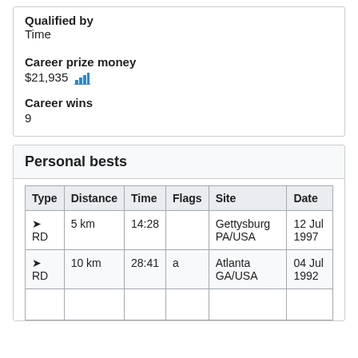Qualified by
Time
Career prize money
$21,935
Career wins
9
Personal bests
| Type | Distance | Time | Flags | Site | Date |
| --- | --- | --- | --- | --- | --- |
| ➤ RD | 5 km | 14:28 |  | Gettysburg PA/USA | 12 Jul 1997 |
| ➤ RD | 10 km | 28:41 | a | Atlanta GA/USA | 04 Jul 1992 |